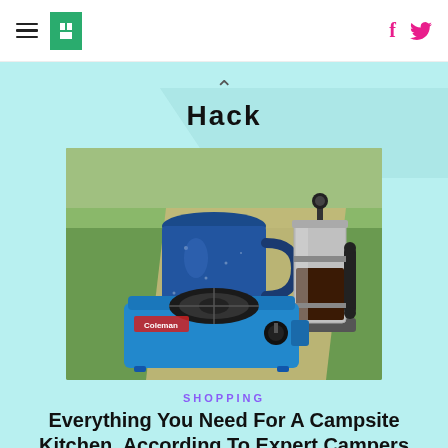HuffPost navigation with hamburger menu, logo, Facebook and Twitter icons
Hack
[Figure (photo): Camping kitchen items: a blue enamel mug, a French press coffee maker, and a blue Coleman camp stove, arranged on a grassy/outdoor background with a tan overlay on the left side.]
SHOPPING
Everything You Need For A Campsite Kitchen, According To Expert Campers